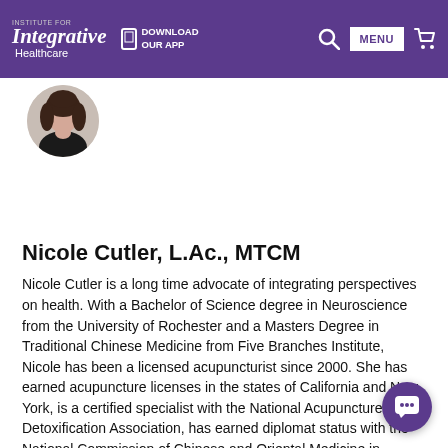Institute for Integrative Healthcare | DOWNLOAD OUR APP | MENU
[Figure (photo): Circular profile photo of Nicole Cutler, a woman with light skin and dark hair, wearing a dark top.]
Nicole Cutler, L.Ac., MTCM
Nicole Cutler is a long time advocate of integrating perspectives on health. With a Bachelor of Science degree in Neuroscience from the University of Rochester and a Masters Degree in Traditional Chinese Medicine from Five Branches Institute, Nicole has been a licensed acupuncturist since 2000. She has earned acupuncture licenses in the states of California and New York, is a certified specialist with the National Acupuncture Detoxification Association, has earned diplomat status with the National Commission of Chinese and Oriental Medicine in Acupuncture and Chinese Herbology and is a member of the Society for Integrative Oncology. In addition to her acupuncture practice that focuses on stress and pain relief, digestion, immunity and sleep, Nicole contributes